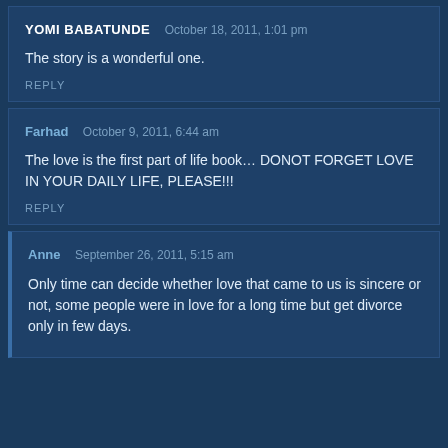YOMI BABATUNDE   October 18, 2011, 1:01 pm
The story is a wonderful one.
REPLY
Farhad   October 9, 2011, 6:44 am
The love is the first part of life book… DONOT FORGET LOVE IN YOUR DAILY LIFE, PLEASE!!!
REPLY
Anne   September 26, 2011, 5:15 am
Only time can decide whether love that came to us is sincere or not, some people were in love for a long time but get divorce only in few days.